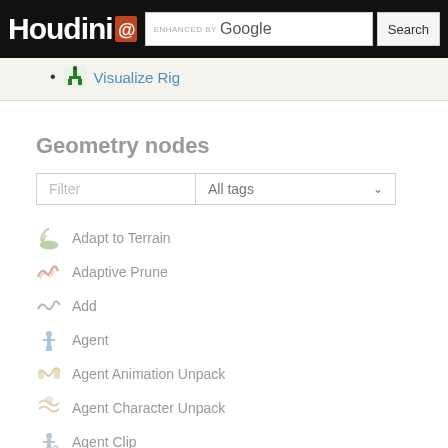Houdini | ENHANCED BY Google | Search
Visualize Rig
Geometry nodes
Adapt to Terrain
Adaptive Prune
Add
Agent
Agent Animation Unpack
Agent Character Unpack
Agent Clip
Agent Clip Properties
Agent Clip Transition Graph